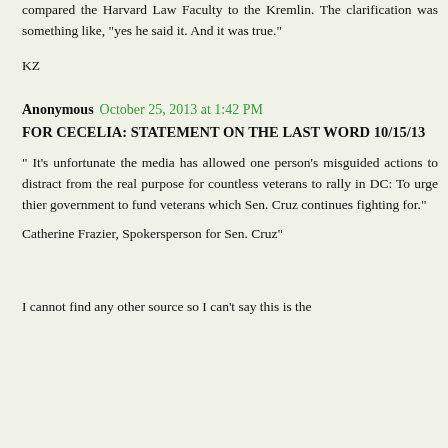compared the Harvard Law Faculty to the Kremlin. The clarification was something like, "yes he said it. And it was true."
KZ
Anonymous  October 25, 2013 at 1:42 PM
FOR CECELIA: STATEMENT ON THE LAST WORD 10/15/13
" It's unfortunate the media has allowed one person's misguided actions to distract from the real purpose for countless veterans to rally in DC: To urge thier government to fund veterans which Sen. Cruz continues fighting for."
Catherine Frazier, Spokersperson for Sen. Cruz"
I cannot find any other source so I can't say this is the